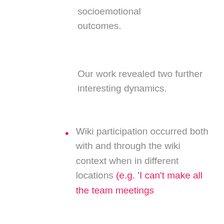socioemotional outcomes.
Our work revealed two further interesting dynamics.
Wiki participation occurred both with and through the wiki context when in different locations (e.g. 'I can't make all the team meetings